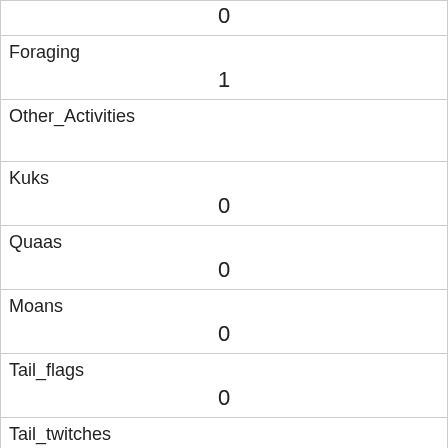| Field | Value |
| --- | --- |
|  | 0 |
| Foraging | 1 |
| Other_Activities |  |
| Kuks | 0 |
| Quaas | 0 |
| Moans | 0 |
| Tail_flags | 0 |
| Tail_twitches | 0 |
| Approaches | 0 |
| Indifferent | 1 |
| Runs_from | 0 |